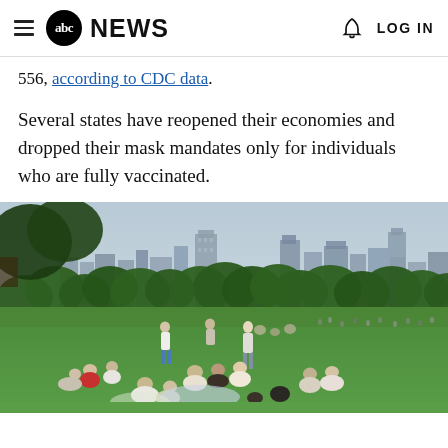abc NEWS  LOG IN
556, according to CDC data.
Several states have reopened their economies and dropped their mask mandates only for individuals who are fully vaccinated.
[Figure (photo): People relaxing on the grass in a park with the New York City skyline visible in the background. Groups of people are sitting and standing on green lawn with trees and tall city buildings behind them.]